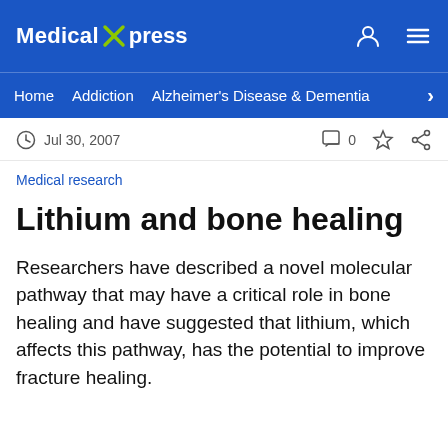Medical Xpress
Home  Addiction  Alzheimer's Disease & Dementia
Jul 30, 2007  0
Medical research
Lithium and bone healing
Researchers have described a novel molecular pathway that may have a critical role in bone healing and have suggested that lithium, which affects this pathway, has the potential to improve fracture healing.